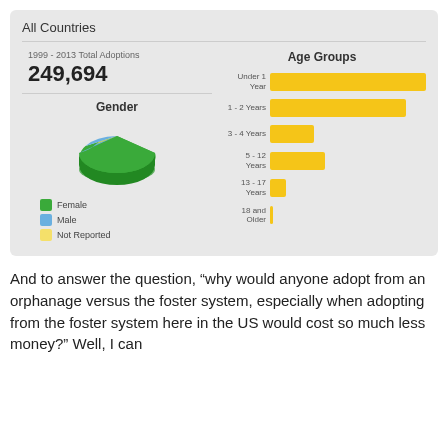All Countries
[Figure (infographic): Dashboard showing 1999-2013 Total Adoptions: 249,694, a pie chart of Gender (Female, Male, Not Reported), and a horizontal bar chart of Age Groups (Under 1 Year, 1-2 Years, 3-4 Years, 5-12 Years, 13-17 Years, 18 and Older)]
[Figure (pie-chart): Gender]
[Figure (bar-chart): Age Groups]
And to answer the question, “why would anyone adopt from an orphanage versus the foster system, especially when adopting from the foster system here in the US would cost so much less money?” Well, I can